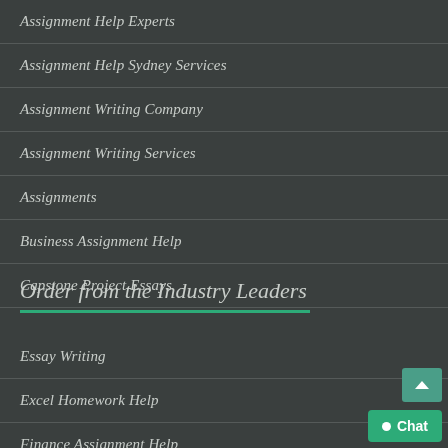Assignment Help Experts
Assignment Help Sydney Services
Assignment Writing Company
Assignment Writing Services
Assignments
Business Assignment Help
Capstone Project Essays
Order from the Industry Leaders
Essay Writing
Excel Homework Help
Finance Assignment Help
Financial Management in Depth